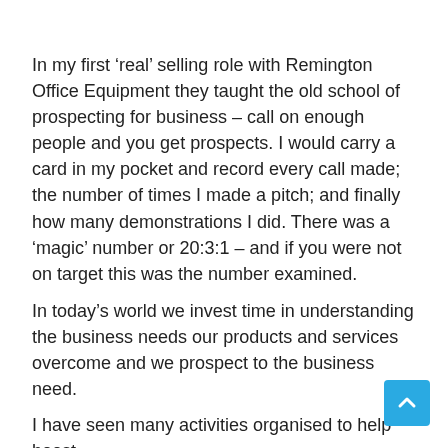In my first ‘real’ selling role with Remington Office Equipment they taught the old school of prospecting for business – call on enough people and you get prospects. I would carry a card in my pocket and record every call made; the number of times I made a pitch; and finally how many demonstrations I did. There was a ‘magic’ number or 20:3:1 – and if you were not on target this was the number examined.
In today’s world we invest time in understanding the business needs our products and services overcome and we prospect to the business need.
I have seen many activities organised to help boost